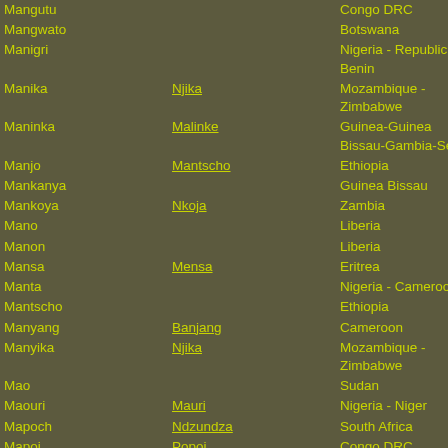| Name | Also known as | Country |
| --- | --- | --- |
| Mangutu |  | Congo DRC |
| Mangwato |  | Botswana |
| Manigri |  | Nigeria - Republic of Benin |
| Manika | Njika | Mozambique - Zimbabwe |
| Maninka | Malinke | Guinea-Guinea Bissau-Gambia-Sen |
| Manjo | Mantscho | Ethiopia |
| Mankanya |  | Guinea Bissau |
| Mankoya | Nkoja | Zambia |
| Mano |  | Liberia |
| Manon |  | Liberia |
| Mansa | Mensa | Eritrea |
| Manta |  | Nigeria - Cameroon |
| Mantscho |  | Ethiopia |
| Manyang | Banjang | Cameroon |
| Manyika | Njika | Mozambique - Zimbabwe |
| Mao |  | Sudan |
| Maouri | Mauri | Nigeria - Niger |
| Mapoch | Ndzundza | South Africa |
| Mapoi | Popoi | Congo DRC |
| Maputo |  | Mozambique |
| Magarha |  | Libya |
| Marach |  | Kenya - Uganda |
| Maragwet | Marakwet | Kenya |
| Maragwetta | Marakwet | Kenya |
| Marakwet |  | Kenya |
| Mararet | Merarit | Chad |
| Maravi |  | Zambia - Malawi |
| Marba |  | Chad |